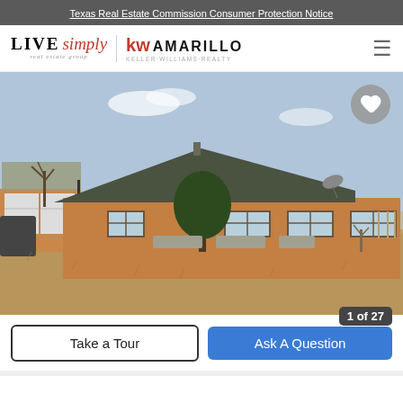Texas Real Estate Commission Consumer Protection Notice
[Figure (logo): Live Simply real estate group / KW Amarillo Keller Williams Realty logo]
[Figure (photo): Exterior photo of a single-story brick ranch-style house with dark shingle roof, dry grass front yard, bare trees, concrete planters, and a satellite dish on the roof.]
Take a Tour
Ask A Question
1 of 27